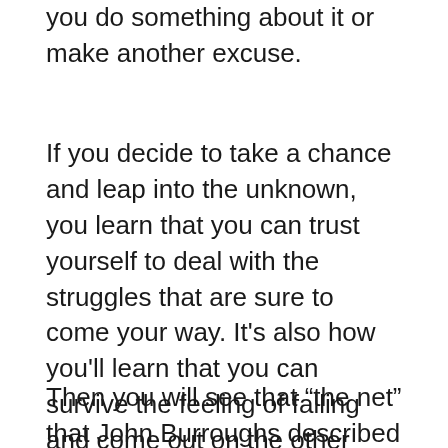you do something about it or make another excuse.
If you decide to take a chance and leap into the unknown, you learn that you can trust yourself to deal with the struggles that are sure to come your way. It’s also how you’ll learn that you can survive the feeling of falling and come out on the other side.
Then you will see that “the net” that John Burroughs described in